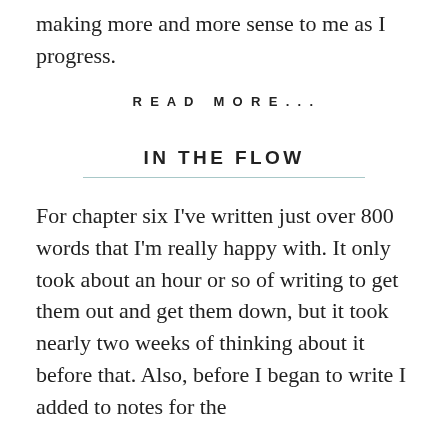making more and more sense to me as I progress.
READ MORE...
IN THE FLOW
For chapter six I've written just over 800 words that I'm really happy with. It only took about an hour or so of writing to get them out and get them down, but it took nearly two weeks of thinking about it before that. Also, before I began to write I added to notes for the